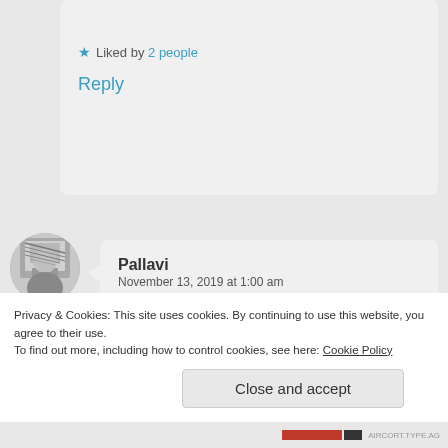Liked by 2 people
Reply
[Figure (photo): Circular avatar photo of user Pallavi, black and white portrait]
Pallavi
November 13, 2019 at 1:00 am
Ugh..takes absolutely nothing to be nice but says a lot about the person.
Liked by 1 person
Privacy & Cookies: This site uses cookies. By continuing to use this website, you agree to their use.
To find out more, including how to control cookies, see here: Cookie Policy
Close and accept